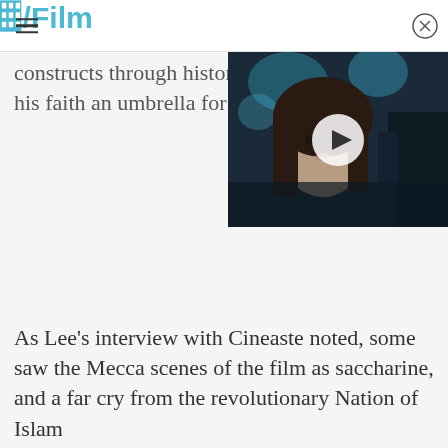/Film
constructs through history, his faith an umbrella for all h
[Figure (screenshot): Video thumbnail showing a young woman with dark hair in a dark/blue-tinted scene with a play button overlay]
As Lee's interview with Cineaste noted, some saw the Mecca scenes of the film as saccharine, and a far cry from the revolutionary Nation of Islam